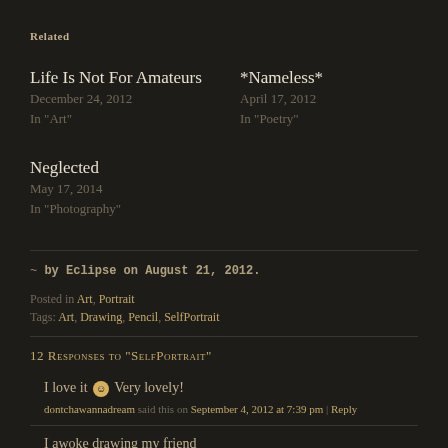Related
Life Is Not For Amateurs
December 24, 2012
In "Art"
*Nameless*
April 17, 2012
In "Poetry"
Neglected
May 17, 2014
In "Photography"
~ by Eclipse on August 21, 2012.
Posted in Art, Portrait
Tags: Art, Drawing, Pencil, SelfPortrait
12 Responses to "SelfPortrait"
I love it 🙂 Very lovely!
dontchawannadream said this on September 4, 2012 at 7:39 pm | Reply
I awoke drawing my friend